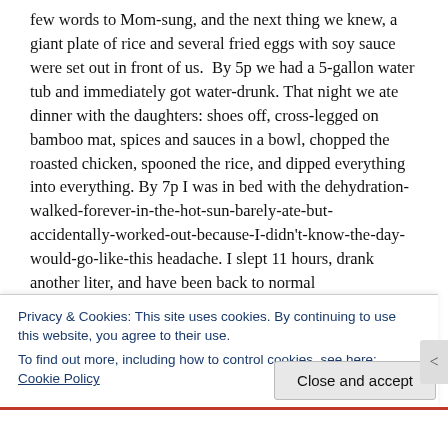few words to Mom-sung, and the next thing we knew, a giant plate of rice and several fried eggs with soy sauce were set out in front of us.  By 5p we had a 5-gallon water tub and immediately got water-drunk. That night we ate dinner with the daughters: shoes off, cross-legged on bamboo mat, spices and sauces in a bowl, chopped the roasted chicken, spooned the rice, and dipped everything into everything. By 7p I was in bed with the dehydration-walked-forever-in-the-hot-sun-barely-ate-but-accidentally-worked-out-because-I-didn't-know-the-day-would-go-like-this headache. I slept 11 hours, drank another liter, and have been back to normal
Privacy & Cookies: This site uses cookies. By continuing to use this website, you agree to their use.
To find out more, including how to control cookies, see here: Cookie Policy